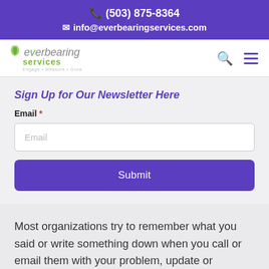(503) 875-8364
info@everbearingservices.com
[Figure (logo): Everbearing Services logo with leaf icon, tagline: Engage + Measure + Grow]
Sign Up for Our Newsletter Here
Email *
Most organizations try to remember what you said or write something down when you call or email them with your problem, update or request. But even the best organizational systems will